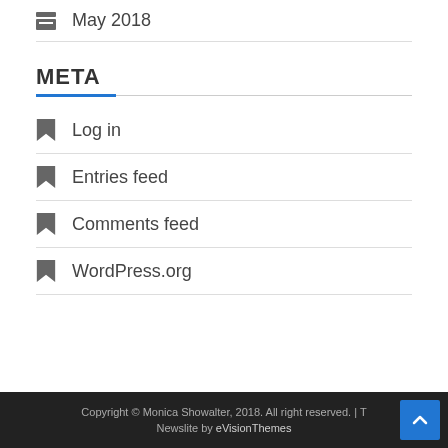May 2018
META
Log in
Entries feed
Comments feed
WordPress.org
Copyright © Monica Showalter, 2018. All right reserved. | T… Newslite by eVisionThemes